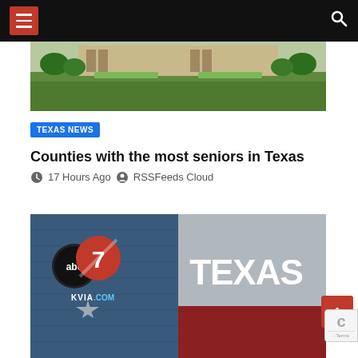Navigation bar with menu and search icons
[Figure (photo): Outdoor photo of a courthouse or public building with green lawn in the foreground]
TEXAS NEWS
Counties with the most seniors in Texas
17 Hours Ago  RSSFeeds Cloud
[Figure (photo): ABC7 KVIA.com logo with Texas state flag imagery and the word TEXAS in large white letters]